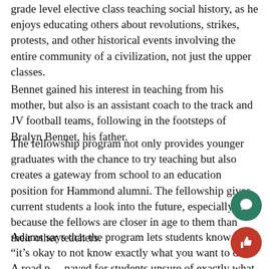grade level elective class teaching social history, as he enjoys educating others about revolutions, strikes, protests, and other historical events involving the entire community of a civilization, not just the upper classes.
Bennet gained his interest in teaching from his mother, but also is an assistant coach to the track and JV football teams, following in the footsteps of Bralyn Bennet, his father.
The fellowship program not only provides younger graduates with the chance to try teaching but also creates a gateway from school to an education position for Hammond alumni. The fellowship gives current students a look into the future, especially because the fellows are closer in age to them than their other teachers.
Adams says that the program lets students know that “it’s okay to not know exactly what you want to do.” A road paved for students unsure of exactly what the future holds or where they belong shows them that they will always find a home at Hammond.